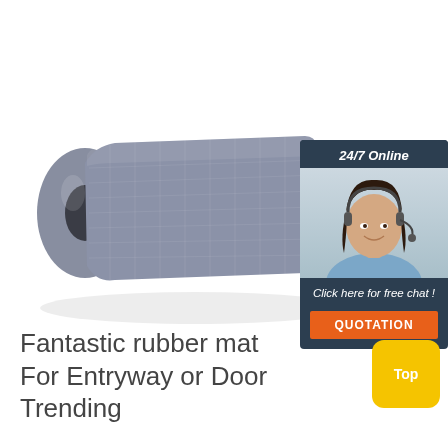[Figure (photo): Gray rolled rubber mat / yoga mat unrolled flat, photographed on white background]
[Figure (infographic): 24/7 Online chat widget with woman wearing headset and 'Click here for free chat!' and QUOTATION button]
Fantastic rubber mat For Entryway or Door Trending ...
[Figure (other): Yellow rounded square 'Top' button]